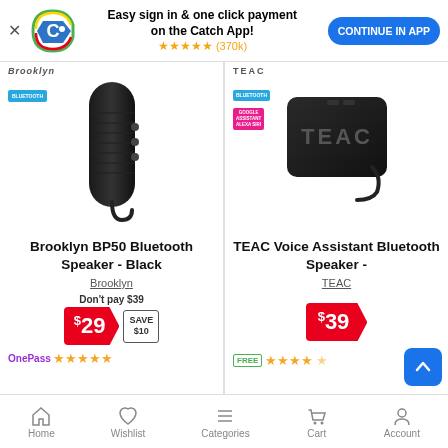[Figure (screenshot): App promotion banner with Catch logo, text 'Easy sign in & one click payment on the Catch App!', star rating (370k), and CONTINUE IN APP button]
[Figure (photo): Brooklyn BP50 Bluetooth Speaker - Black product image]
Brooklyn BP50 Bluetooth Speaker - Black
Brooklyn
Don't pay $39
$29 SAVE $10
OnePass ★★★★★
[Figure (photo): TEAC Voice Assistant Bluetooth Speaker product image]
TEAC Voice Assistant Bluetooth Speaker -
TEAC
$39
FREE ★★★★½
Home   Wishlist   Categories   Cart   Account